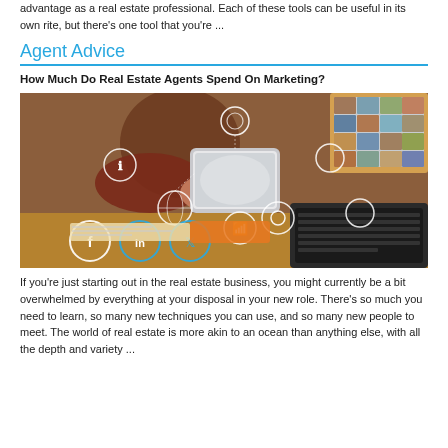advantage as a real estate professional. Each of these tools can be useful in its own rite, but there's one tool that you're ...
Agent Advice
How Much Do Real Estate Agents Spend On Marketing?
[Figure (photo): Person holding a tablet with social media and digital marketing icons floating around it, including Facebook, LinkedIn, Twitter logos. Laptop visible in background.]
If you're just starting out in the real estate business, you might currently be a bit overwhelmed by everything at your disposal in your new role. There's so much you need to learn, so many new techniques you can use, and so many new people to meet. The world of real estate is more akin to an ocean than anything else, with all the depth and variety ...